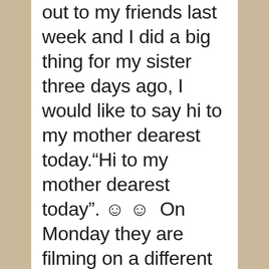out to my friends last week and I did a big thing for my sister three days ago, I would like to say hi to my mother dearest today.“Hi to my mother dearest today”. ☺ ☺  On Monday they are filming on a different set which is pretty exciting!! It is a